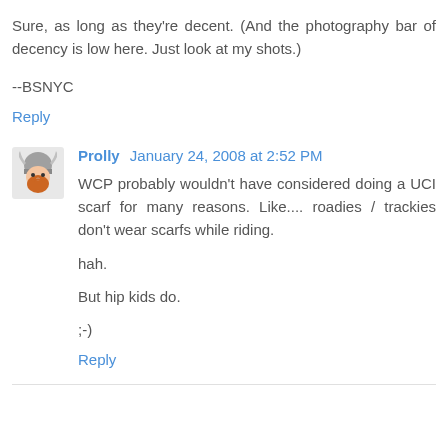Sure, as long as they're decent. (And the photography bar of decency is low here. Just look at my shots.)
--BSNYC
Reply
Prolly January 24, 2008 at 2:52 PM
WCP probably wouldn't have considered doing a UCI scarf for many reasons. Like.... roadies / trackies don't wear scarfs while riding.
hah.
But hip kids do.
;-)
Reply
January 24, 2008 at 2:52 PM